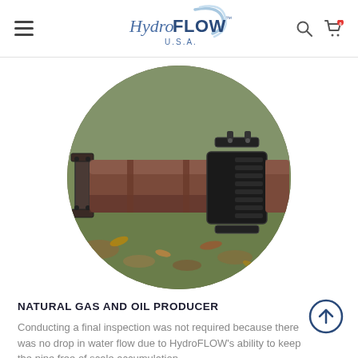HydroFLOW U.S.A. — navigation header with hamburger menu, logo, search and cart icons
[Figure (photo): Circular cropped photo of a large industrial pipe with a black HydroFLOW device clamped around it, sitting outdoors on grass with fallen leaves visible in the background.]
NATURAL GAS AND OIL PRODUCER
Conducting a final inspection was not required because there was no drop in water flow due to HydroFLOW's ability to keep the pipe free of scale accumulation.